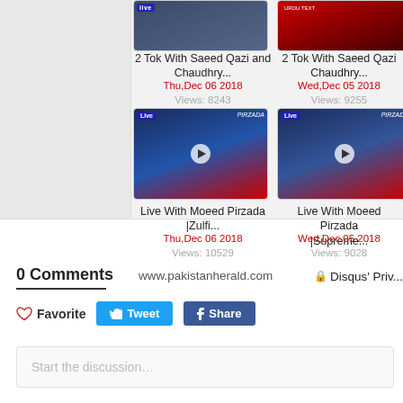[Figure (screenshot): Video thumbnail - 2 Tok with Saeed Qazi and Chaudhry]
2 Tok With Saeed Qazi and Chaudhry...
Thu,Dec 06 2018
Views: 8243
[Figure (screenshot): Video thumbnail - 2 Tok with Saeed Qazi Chaudhry]
2 Tok With Saeed Qazi Chaudhry...
Wed,Dec 05 2018
Views: 9255
[Figure (screenshot): Partial video thumbnail - Part 1]
Part 1 |E...
Mo...
V...
[Figure (screenshot): Video thumbnail - Live With Moeed Pirzada |Zulfi...]
Live With Moeed Pirzada |Zulfi...
Thu,Dec 06 2018
Views: 10529
[Figure (screenshot): Video thumbnail - Live With Moeed Pirzada |Supreme...]
Live With Moeed Pirzada |Supreme...
Wed,Dec 05 2018
Views: 9028
[Figure (screenshot): Partial video thumbnail - Part 2]
Part 2 |E...
Mo...
V...
0 Comments
www.pakistanherald.com
Disqus' Priv...
♡ Favorite
Tweet
Share
Start the discussion…